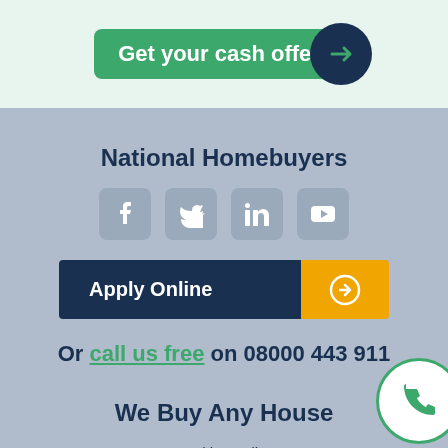[Figure (other): Green 'Get your cash offer' button with dark navy arrow circle on light green background]
National Homebuyers
[Figure (other): Row of four social media icons: Facebook, Twitter, LinkedIn, YouTube]
[Figure (other): Apply Online button with dark navy background and orange arrow square]
Or call us free on 08000 443 911
We Buy Any House
Cookies Policy
Privacy Policy
Terms & Conditions
Terms of Use